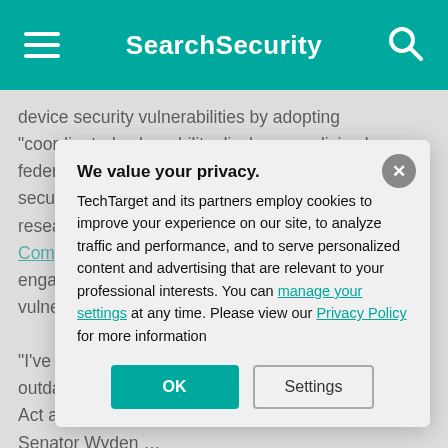SearchSecurity
device security vulnerabilities by adopting "coordinated vulnerability disclosure policies by federal contractors and providing legal protections to security researchers" who engage in "good-faith research" and exempt them "from liability under the Computer Fraud and Abuse Act and the Digital M[illennium Copyright Act] engaged in rese[arch] vulnerability disc[losure]
"I've long been m[aintaining that these laws are] outdated and ov[erbroad]... Act and the Digi[tal Millennium Copyright Act]," Senator Wyden [said]. bipartisan, comm[itted to passing this legislation]. This bill is desig[ned to allow security researchers to report] vulnerabilities in [federal systems] without fear of p[rosecution]
We value your privacy.
TechTarget and its partners employ cookies to improve your experience on our site, to analyze traffic and performance, and to serve personalized content and advertising that are relevant to your professional interests. You can manage your settings at any time. Please view our Privacy Policy for more information